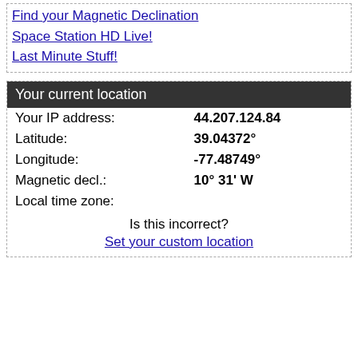Find your Magnetic Declination
Space Station HD Live!
Last Minute Stuff!
Your current location
|  |  |
| --- | --- |
| Your IP address: | 44.207.124.84 |
| Latitude: | 39.04372° |
| Longitude: | -77.48749° |
| Magnetic decl.: | 10° 31' W |
| Local time zone: |  |
Is this incorrect?
Set your custom location